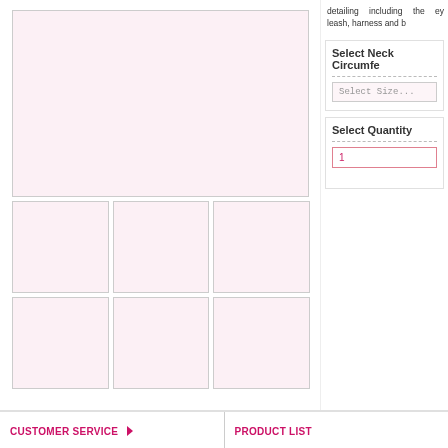detailing including the eye leash, harness and ba
[Figure (photo): Main product image placeholder - pink/white background]
[Figure (photo): Thumbnail 1 - pink/white]
[Figure (photo): Thumbnail 2 - pink/white]
[Figure (photo): Thumbnail 3 - pink/white]
[Figure (photo): Thumbnail 4 - pink/white]
[Figure (photo): Thumbnail 5 - pink/white]
[Figure (photo): Thumbnail 6 - pink/white]
Select Neck Circumfo
Select Size...
Select Quantity
1
CUSTOMER SERVICE ▶
PRODUCT LIST